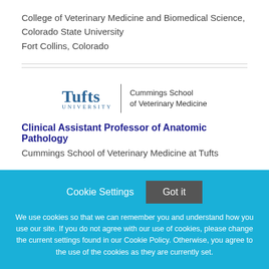College of Veterinary Medicine and Biomedical Science, Colorado State University
Fort Collins, Colorado
[Figure (logo): Tufts University | Cummings School of Veterinary Medicine logo]
Clinical Assistant Professor of Anatomic Pathology
Cummings School of Veterinary Medicine at Tufts
Cookie Settings  Got it
We use cookies so that we can remember you and understand how you use our site. If you do not agree with our use of cookies, please change the current settings found in our Cookie Policy. Otherwise, you agree to the use of the cookies as they are currently set.